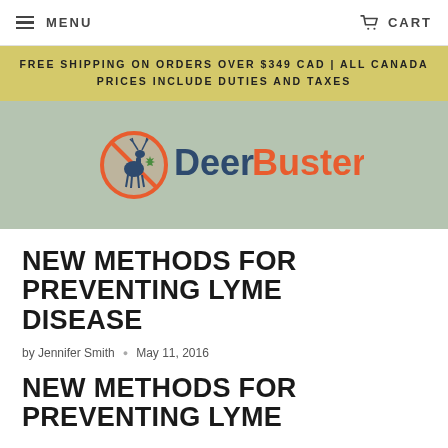MENU  CART
FREE SHIPPING ON ORDERS OVER $349 CAD | ALL CANADA PRICES INCLUDE DUTIES AND TAXES
[Figure (logo): Deer Busters Canada logo with deer and maple leaf icon, navy and orange text]
NEW METHODS FOR PREVENTING LYME DISEASE
by Jennifer Smith · May 11, 2016
NEW METHODS FOR PREVENTING LYME